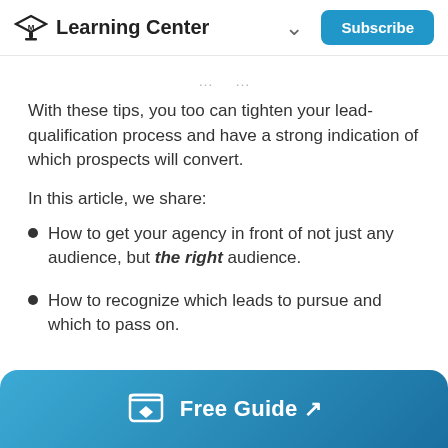Learning Center  ∨  Subscribe
With these tips, you too can tighten your lead-qualification process and have a strong indication of which prospects will convert.
In this article, we share:
How to get your agency in front of not just any audience, but the right audience.
How to recognize which leads to pursue and which to pass on.
Free Guide ↗